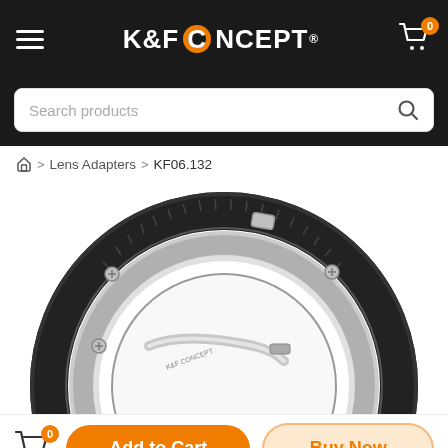K&F CONCEPT
Search products
Home > Lens Adapters > KF06.132
[Figure (photo): Close-up product photo of a K&F Concept lens adapter ring (KF06.132) showing a black and silver circular metal ring with knurled outer edge, locking tab, and screws on a white background.]
Add to Cart
Buy Now